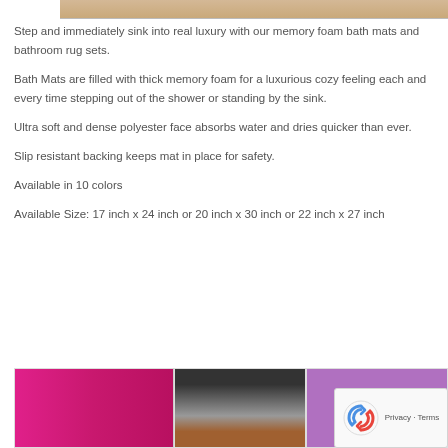[Figure (photo): Top portion of a product photo showing a wooden surface background with a bath mat]
Step and immediately sink into real luxury with our memory foam bath mats and bathroom rug sets.
Bath Mats are filled with thick memory foam for a luxurious cozy feeling each and every time stepping out of the shower or standing by the sink.
Ultra soft and dense polyester face absorbs water and dries quicker than ever.
Slip resistant backing keeps mat in place for safety.
Available in 10 colors
Available Size: 17 inch x 24 inch or 20 inch x 30 inch or 22 inch x 27 inch
[Figure (photo): Three product thumbnail images showing bath mats in different colors: pink/magenta, multi-color striped, and purple]
[Figure (other): reCAPTCHA privacy badge overlay in bottom right corner]